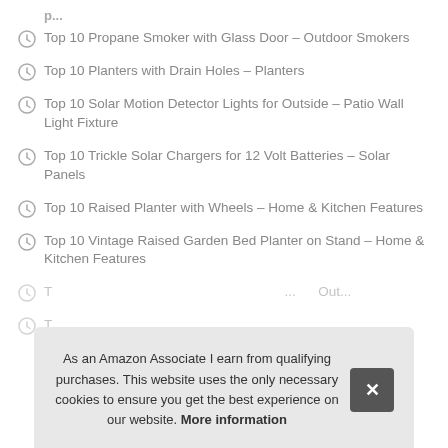Top 10 Propane Smoker with Glass Door – Outdoor Smokers
Top 10 Planters with Drain Holes – Planters
Top 10 Solar Motion Detector Lights for Outside – Patio Wall Light Fixture
Top 10 Trickle Solar Chargers for 12 Volt Batteries – Solar Panels
Top 10 Raised Planter with Wheels – Home & Kitchen Features
Top 10 Vintage Raised Garden Bed Planter on Stand – Home & Kitchen Features
T... Out...
T...
As an Amazon Associate I earn from qualifying purchases. This website uses the only necessary cookies to ensure you get the best experience on our website. More information